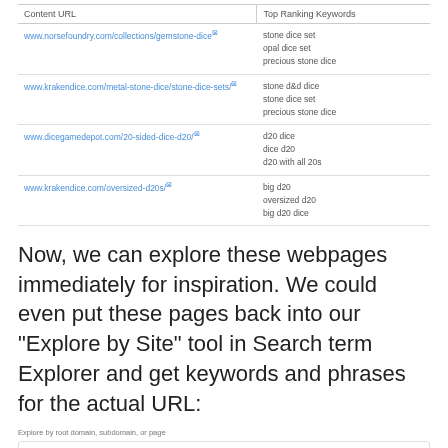| Content URL | Top Ranking Keywords |
| --- | --- |
| www.norsefoundry.com/collections/gemstone-dice | stone dice set
opal dice set
precious stone dice |
| www.krakendice.com/metal-stone-dice/stone-dice-sets/ | stone d&d dice
stone dice set
precious stone dice |
| www.dicegamedepot.com/20-sided-dice-d20/ | d20 dice
dice d20
d20 with all 20s |
| www.krakendice.com/oversized-d20s/ | big d20
oversized d20
big d20 dice |
Now, we can explore these webpages immediately for inspiration. We could even put these pages back into our "Explore by Site" tool in Search term Explorer and get keywords and phrases for the actual URL:
[Figure (screenshot): UI screenshot showing 'Explore by root domain, subdomain, or page' label, an 'exact page' dropdown, a URL input with 'https://www.krakendice.com/oversized-d20s/', and an 'Analyze' button. Below: '4,987 of 5,000 queries available until 06/20'.]
This market site (focusing on outsized d20s)